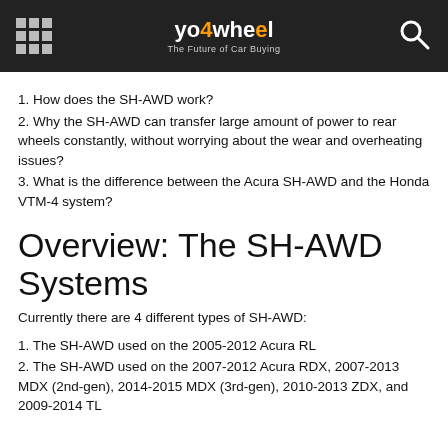yo4wheel – The Future of Car Buying
1. How does the SH-AWD work?
2. Why the SH-AWD can transfer large amount of power to rear wheels constantly, without worrying about the wear and overheating issues?
3. What is the difference between the Acura SH-AWD and the Honda VTM-4 system?
Overview: The SH-AWD Systems
Currently there are 4 different types of SH-AWD:
1. The SH-AWD used on the 2005-2012 Acura RL
2. The SH-AWD used on the 2007-2012 Acura RDX, 2007-2013 MDX (2nd-gen), 2014-2015 MDX (3rd-gen), 2010-2013 ZDX, and 2009-2014 TL